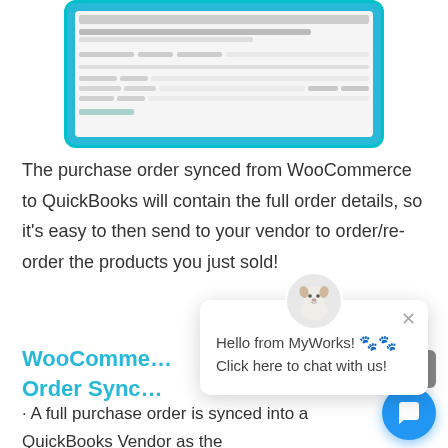[Figure (screenshot): Screenshot of a WooCommerce/QuickBooks purchase order interface shown in a cyan-bordered tablet frame]
The purchase order synced from WooCommerce to QuickBooks will contain the full order details, so it's easy to then send to your vendor to order/re-order the products you just sold!
WooComme… Order Sync…
• A full purchase order is synced into a QuickBooks Vendor as the WooCommerce order is synced to
[Figure (screenshot): Chat popup from MyWorks with dog avatar. Text: Hello from MyWorks! Click here to chat with us! and a close (×) button]